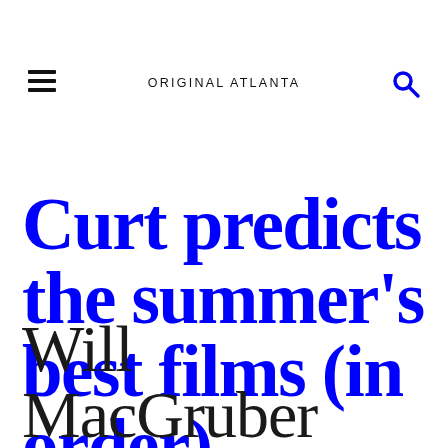ORIGINAL ATLANTA
Curt predicts the summer's best films (in order)
Will MacGruber